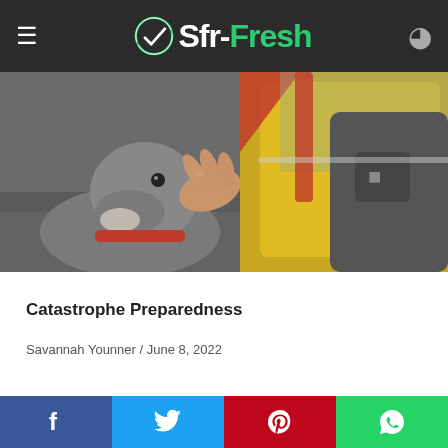Sfr-Fresh
[Figure (photo): Person in yellow and red jacket petting or holding the head of a gray dog outdoors on pavement]
Catastrophe Preparedness
Savannah Younner / June 8, 2022